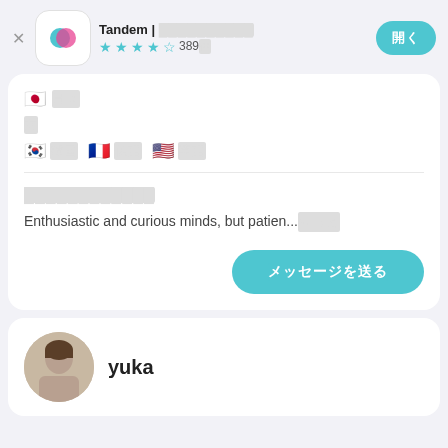Tandem | ██████████ ★★★★☆ 389件
🇯🇵 日本語
女
🇰🇷 韓国語  🇫🇷 フランス語  🇺🇸 英語
████████████
Enthusiastic and curious minds, but patien...████
メッセージを送る
yuka